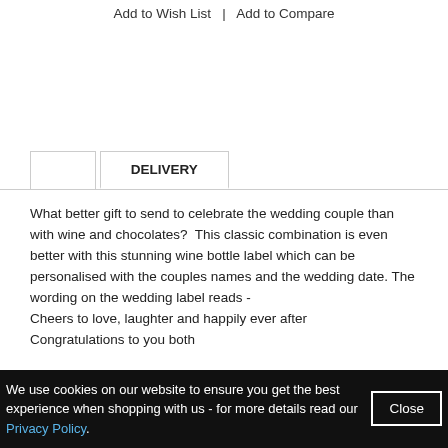Add to Wish List  |  Add to Compare
DELIVERY
What better gift to send to celebrate the wedding couple than with wine and chocolates?  This classic combination is even better with this stunning wine bottle label which can be personalised with the couples names and the wedding date. The wording on the wedding label reads -
Cheers to love, laughter and happily ever after
Congratulations to you both
We use cookies on our website to ensure you get the best experience when shopping with us - for more details read our Privacy Policy.